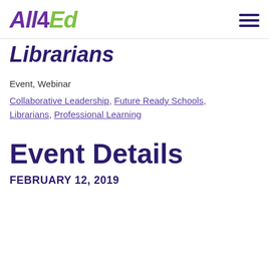All4Ed
Librarians
Event, Webinar
Collaborative Leadership, Future Ready Schools, Librarians, Professional Learning
Event Details
FEBRUARY 12, 2019